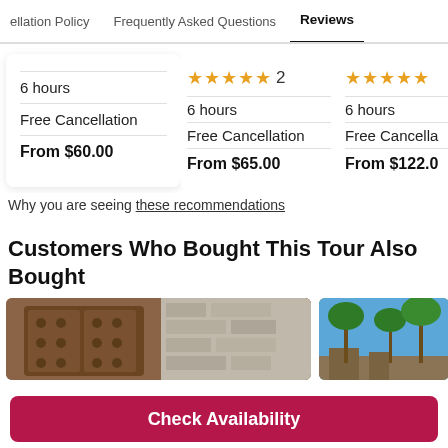ellation Policy   Frequently Asked Questions   Reviews
6 hours
Free Cancellation
From $60.00
★★★★★ 2
6 hours
Free Cancellation
From $65.00
★★★★★
6 hours
Free Cancella...
From $122.0...
Why you are seeing these recommendations
Customers Who Bought This Tour Also Bought
[Figure (photo): Photo of ornate wooden doors with carved detailing]
[Figure (photo): Photo of palm trees and ruins against blue sky]
Check Availability